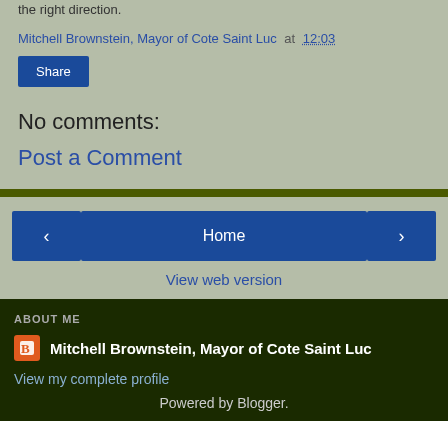the right direction.
Mitchell Brownstein, Mayor of Cote Saint Luc at 12:03
Share
No comments:
Post a Comment
‹  Home  ›
View web version
ABOUT ME
Mitchell Brownstein, Mayor of Cote Saint Luc
View my complete profile
Powered by Blogger.